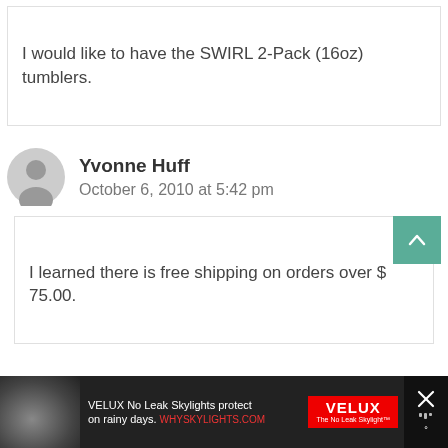I would like to have the SWIRL 2-Pack (16oz) tumblers.
Yvonne Huff
October 6, 2010 at 5:42 pm
I learned there is free shipping on orders over $ 75.00.
[Figure (other): Advertisement banner: VELUX No Leak Skylights protect on rainy days. WHYSKYLIGHTS.COM]
VELUX No Leak Skylights protect on rainy days. WHYSKYLIGHTS.COM